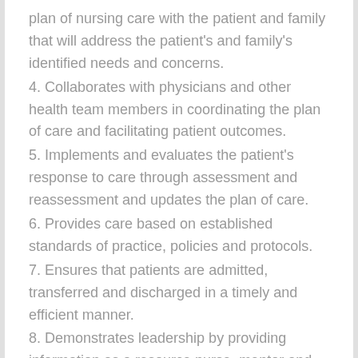plan of nursing care with the patient and family that will address the patient's and family's identified needs and concerns.
4. Collaborates with physicians and other health team members in coordinating the plan of care and facilitating patient outcomes.
5. Implements and evaluates the patient's response to care through assessment and reassessment and updates the plan of care.
6. Provides care based on established standards of practice, policies and protocols.
7. Ensures that patients are admitted, transferred and discharged in a timely and efficient manner.
8. Demonstrates leadership by providing information as a resource nurse, mentor and coach and delegator of nursing care activities.